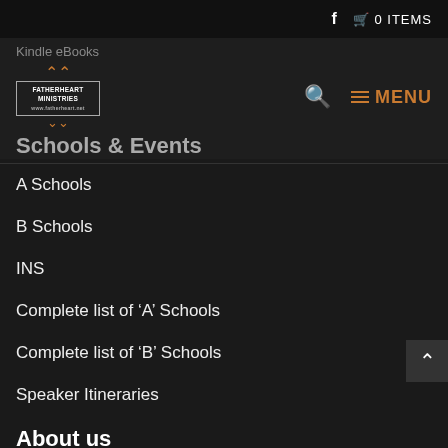f  🛒 0 ITEMS
Kindle eBooks
[Figure (logo): Fatherheart Ministries logo with mountain/chevron icons and boxed text]
☰ MENU
Schools & Events
A Schools
B Schools
INS
Complete list of 'A' Schools
Complete list of 'B' Schools
Speaker Itineraries
About us